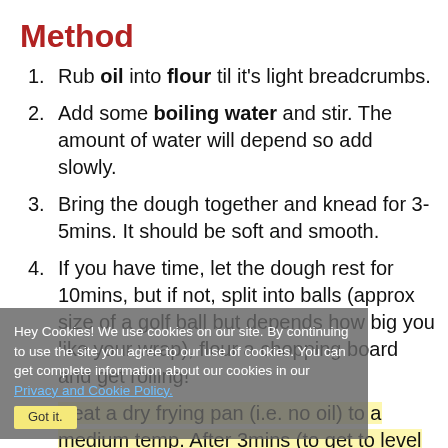Method
Rub oil into flour til it's light breadcrumbs.
Add some boiling water and stir. The amount of water will depend so add slowly.
Bring the dough together and knead for 3-5mins. It should be soft and smooth.
If you have time, let the dough rest for 10mins, but if not, split into balls (approx size of a golf ball but depends how big you like your wrap), flour a chopping board and get rolling!
Hey Cookies! We use cookies on our site. By continuing to use the site you agree to our use of cookies. You can get complete information about our cookies in our Privacy and Cookie Policy.
Heat a dry frying pan (i.e. no oil) to a medium temp. After 3mins (to get to level temp) lay your first wrap in the pan.